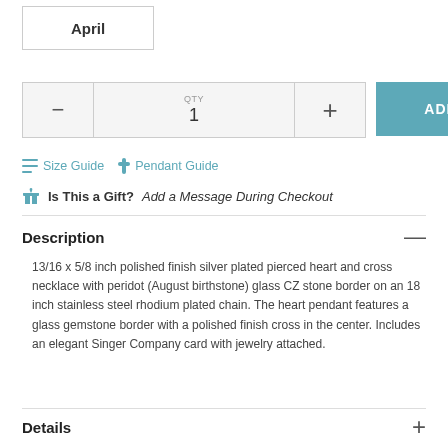April
QTY 1  ADD TO BAG
Size Guide  Pendant Guide
Is This a Gift? Add a Message During Checkout
Description
13/16 x 5/8 inch polished finish silver plated pierced heart and cross necklace with peridot (August birthstone) glass CZ stone border on an 18 inch stainless steel rhodium plated chain. The heart pendant features a glass gemstone border with a polished finish cross in the center. Includes an elegant Singer Company card with jewelry attached.
Details